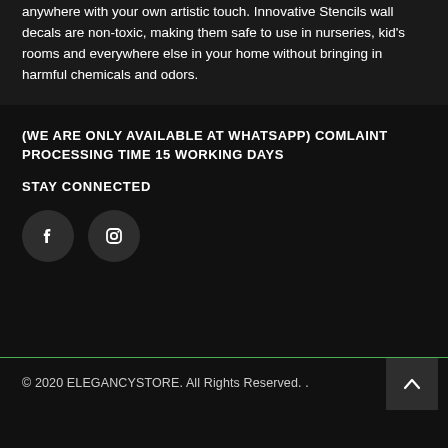anywhere with your own artistic touch. Innovative Stencils wall decals are non-toxic, making them safe to use in nurseries, kid's rooms and everywhere else in your home without bringing in harmful chemicals and odors.
(WE ARE ONLY AVAILABLE AT WHATSAPP) COMLAINT PROCESSING TIME 15 WORKING DAYS
STAY CONNECTED
[Figure (illustration): Facebook icon circle button]
[Figure (illustration): Instagram icon circle button]
© 2020 ELEGANCYSTORE. All Rights Reserved. .
[Figure (illustration): Back to top arrow button]